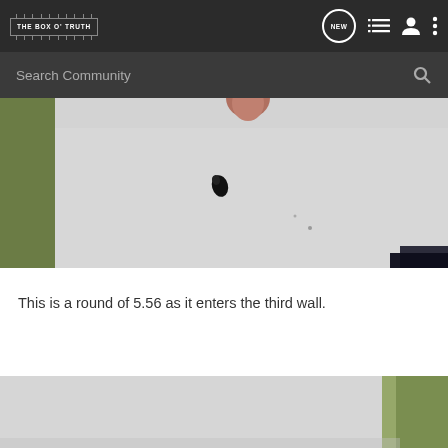THE BOX O' TRUTH — navigation bar with logo and icons (NEW, list, profile, more)
Search Community
[Figure (photo): Close-up photo of a bullet hole in a white drywall or concrete surface. A dark teardrop-shaped entry hole is visible in the center. Green grass is visible on the left side. A person's foot/shoe is barely visible at the top center. Dark material visible at bottom right corner.]
This is a round of 5.56 as it enters the third wall.
[Figure (photo): Partial view of a white wall surface with grass visible at right edge, bottom portion of page.]